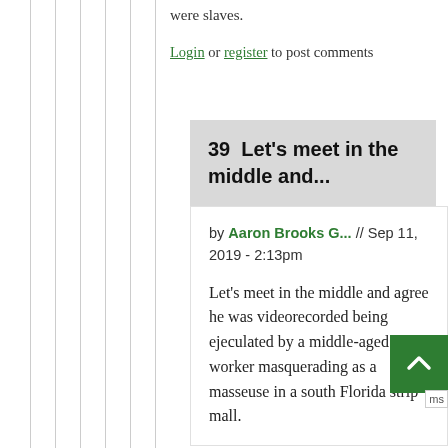were slaves.
Login or register to post comments
39  Let's meet in the middle and...
by Aaron Brooks G... // Sep 11, 2019 - 2:13pm
Let's meet in the middle and agree he was videorecorded being ejeculated by a middle-aged sex worker masquerading as a masseuse in a south Florida strip mall.